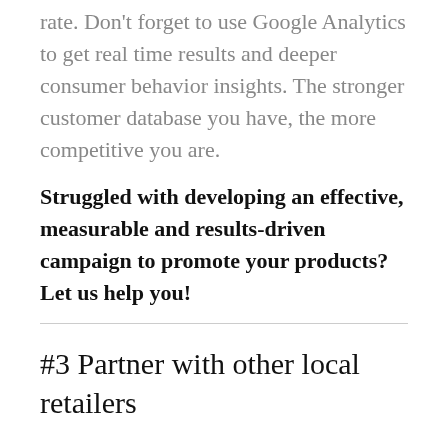rate. Don't forget to use Google Analytics to get real time results and deeper consumer behavior insights. The stronger customer database you have, the more competitive you are.
Struggled with developing an effective, measurable and results-driven campaign to promote your products? Let us help you!
#3 Partner with other local retailers
Have you considered partnering with other